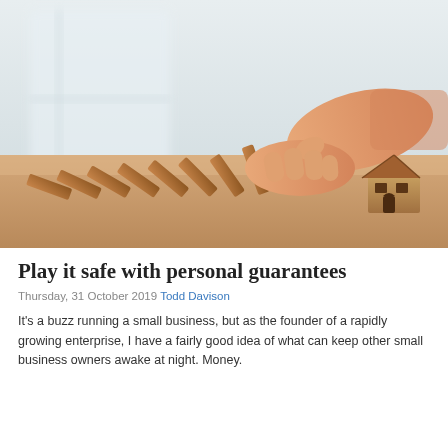[Figure (photo): A hand stopping a row of falling wooden dominoes, protecting a small wooden toy house on a wooden surface. Blurred window background.]
Play it safe with personal guarantees
Thursday, 31 October 2019 Todd Davison
It's a buzz running a small business, but as the founder of a rapidly growing enterprise, I have a fairly good idea of what can keep other small business owners awake at night. Money.